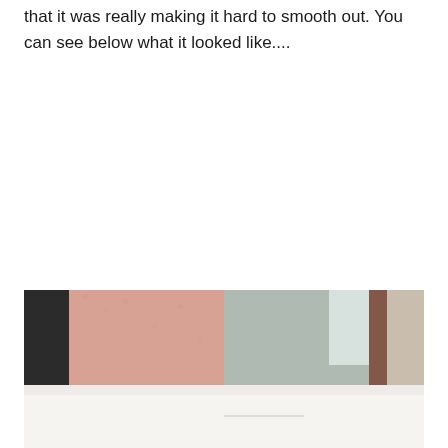that it was really making it hard to smooth out. You can see below what it looked like....
[Figure (photo): A blurry photograph showing what appears to be an interior room with pinkish/salmon textured wall on the left side and a smoother grayish-green wall on the right side, with a dark door frame visible. The bottom portion shows a white/light surface.]